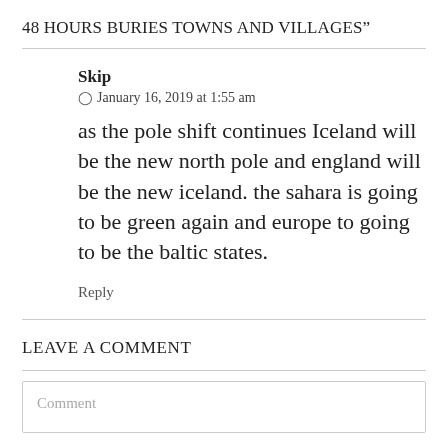48 HOURS BURIES TOWNS AND VILLAGES”
Skip
○ January 16, 2019 at 1:55 am
as the pole shift continues Iceland will be the new north pole and england will be the new iceland. the sahara is going to be green again and europe to going to be the baltic states.
Reply
LEAVE A COMMENT
Comment